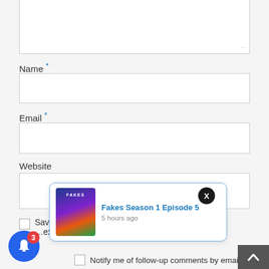[Figure (screenshot): Web comment form showing a textarea at top, Name field with asterisk, Email field with asterisk, Website field, Save my name checkbox (partially obscured), and Notify me of follow-up comments by email checkbox. Overlaid with a browser notification popup showing 'Fakes Season 1 Episode 5' with a movie poster thumbnail and '5 hours ago', a close (X) button, a blue bell notification button with badge 3, and a dark scroll-to-top arrow button in bottom right.]